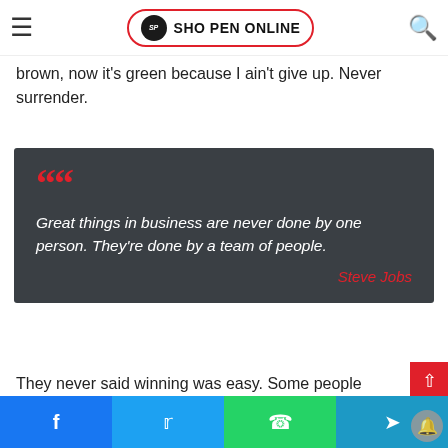SHO PEN ONLINE
breathing. We blessed. You see the hedges, I only got it amped up? It's important to use your speeches. It's like getting a haircut, stay fresh. The other day the grass was brown, now it's green because I ain't give up. Never surrender.
[Figure (illustration): Dark grey quote card with red quotation marks, white italic text reading 'Great things in business are never done by one person. They're done by a team of people.' and red italic attribution 'Steve Jobs']
They never said winning was easy. Some people can't hand